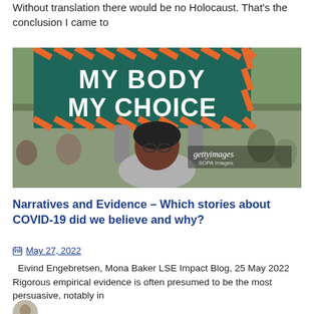Without translation there would be no Holocaust. That's the conclusion I came to
[Figure (photo): Protest photo showing a person holding a sign reading 'MY BODY MY CHOICE' with orange and black diagonal stripes border, crowd in background, gettyimages / SOPA Images watermark]
Narratives and Evidence – Which stories about COVID-19 did we believe and why?
May 27, 2022
Eivind Engebretsen, Mona Baker LSE Impact Blog, 25 May 2022   Rigorous empirical evidence is often presumed to be the most persuasive, notably in